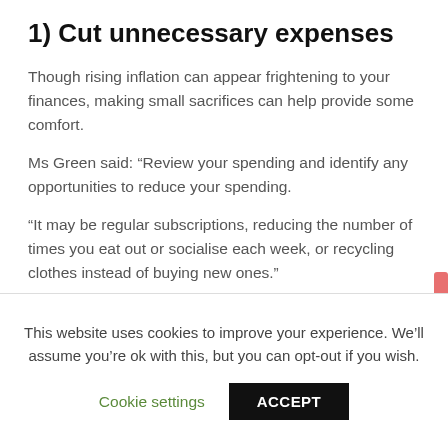1) Cut unnecessary expenses
Though rising inflation can appear frightening to your finances, making small sacrifices can help provide some comfort.
Ms Green said: “Review your spending and identify any opportunities to reduce your spending.
“It may be regular subscriptions, reducing the number of times you eat out or socialise each week, or recycling clothes instead of buying new ones.”
2) Prioritise your spending
This website uses cookies to improve your experience. We’ll assume you’re ok with this, but you can opt-out if you wish.
Cookie settings    ACCEPT